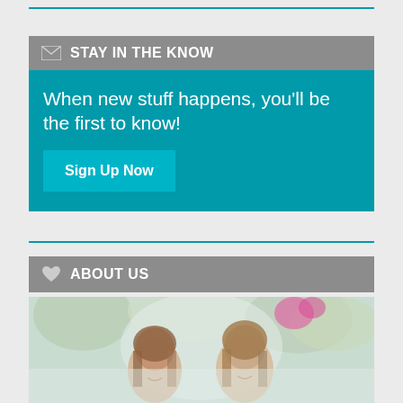STAY IN THE KNOW
When new stuff happens, you'll be the first to know!
Sign Up Now
ABOUT US
[Figure (photo): Two smiling women photographed outdoors with blurred green foliage and pink flowers in the background]